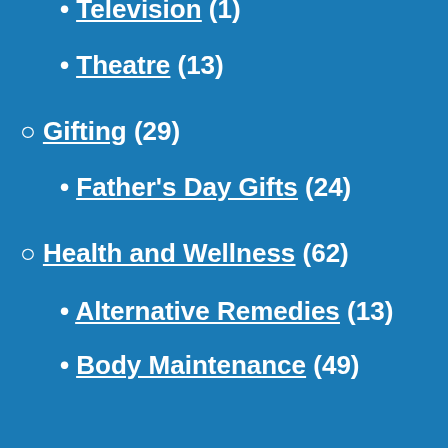Television (1)
Theatre (13)
Gifting (29)
Father's Day Gifts (24)
Health and Wellness (62)
Alternative Remedies (13)
Body Maintenance (49)
Mind and Spirit (20)
Relationships (7)
Home and Garden (22)
Clippings from a Small Garden (5)
Leisure (193)
Bars and Pubs (3)
Books (32)
Days Out (119)
Events (19)